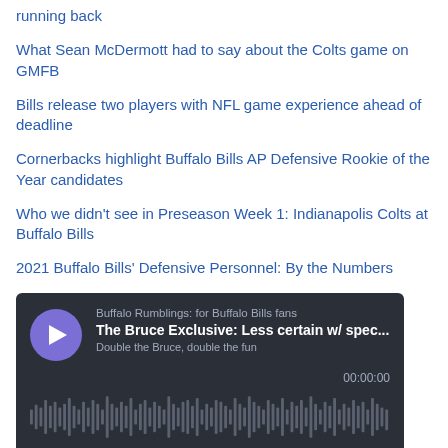running back
What Sean McDermott had to say about the Colts game on GMFB
Bills release two players with NFL game experience ahead of deadline
Cornerbacks highlight Buffalo Bills AP Defensive Rookie of the Year candidates
Who we didn't see in Preseason Week 1: Indianapolis Colts at Buffalo Bills
2021 Buffalo Bills' Defensive Personnel: By the Numbers
[Figure (screenshot): Podcast player widget with dark background showing Buffalo Rumblings podcast. Play button (purple circle with white triangle). Show name: 'Buffalo Rumblings: for Buffalo Bills fans'. Episode title: 'The Bruce Exclusive: Less certain w/ spec...'. Subtitle: 'Double the Bruce, double the fun'. Time: 00:00:00. Audio waveform visualization. Footer with SHARE, SUBSCRIBE, COOKIE POLICY, DESCRIPTION links and Megaphone logo.]